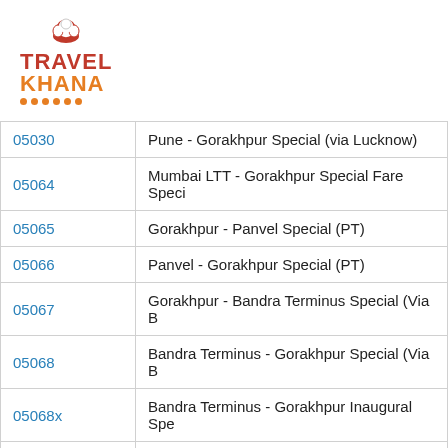[Figure (logo): TravelKhana logo with chef hat icon and orange dots]
| Train Number | Train Name |
| --- | --- |
| 05030 | Pune - Gorakhpur Special (via Lucknow) |
| 05064 | Mumbai LTT - Gorakhpur Special Fare Speci |
| 05065 | Gorakhpur - Panvel Special (PT) |
| 05066 | Panvel - Gorakhpur Special (PT) |
| 05067 | Gorakhpur - Bandra Terminus Special (Via B |
| 05068 | Bandra Terminus - Gorakhpur Special (Via B |
| 05068x | Bandra Terminus - Gorakhpur Inaugural Spe |
| 05101 | Chhapra - Mumbai LTT Festival Special |
| 05102 | Mumbai LTT - Chhapra Festival Special |
| 0511 | Gorakhpur LTT Unreserved Special (UnRese |